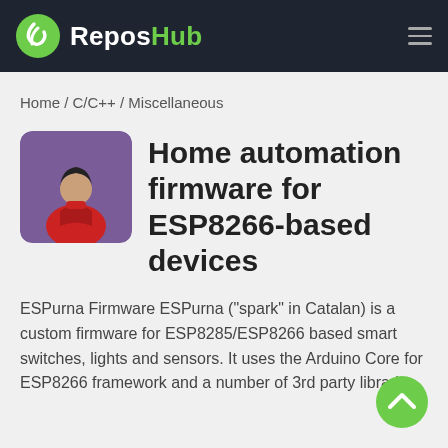ReposHub
Home / C/C++ / Miscellaneous
Home automation firmware for ESP8266-based devices
ESPurna Firmware ESPurna ("spark" in Catalan) is a custom firmware for ESP8285/ESP8266 based smart switches, lights and sensors. It uses the Arduino Core for ESP8266 framework and a number of 3rd party libraries.